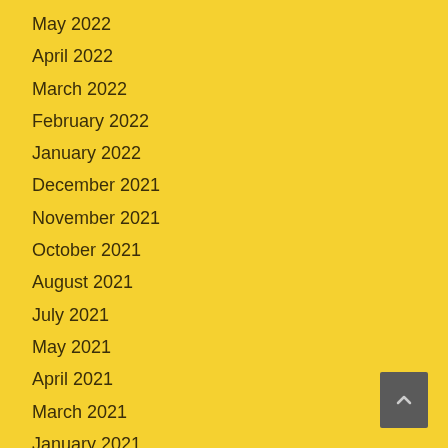May 2022
April 2022
March 2022
February 2022
January 2022
December 2021
November 2021
October 2021
August 2021
July 2021
May 2021
April 2021
March 2021
January 2021
December 2020